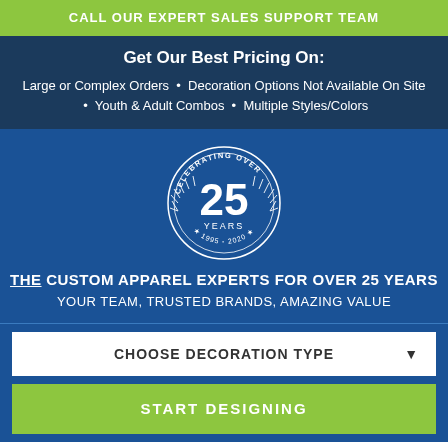CALL OUR EXPERT SALES SUPPORT TEAM
Get Our Best Pricing On:
Large or Complex Orders • Decoration Options Not Available On Site • Youth & Adult Combos • Multiple Styles/Colors
[Figure (logo): 25 years anniversary badge: circular design with laurel wreath, text 'CELEBRATING OVER 25 YEARS ★ 1995 - 2020 ★']
THE CUSTOM APPAREL EXPERTS FOR OVER 25 YEARS
YOUR TEAM, TRUSTED BRANDS, AMAZING VALUE
CHOOSE DECORATION TYPE
START DESIGNING